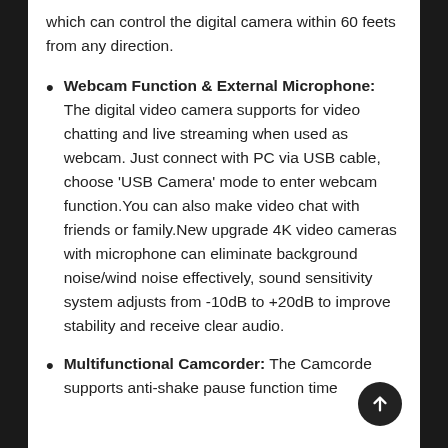which can control the digital camera within 60 feets from any direction.
Webcam Function & External Microphone: The digital video camera supports for video chatting and live streaming when used as webcam. Just connect with PC via USB cable, choose 'USB Camera' mode to enter webcam function.You can also make video chat with friends or family.New upgrade 4K video cameras with microphone can eliminate background noise/wind noise effectively, sound sensitivity system adjusts from -10dB to +20dB to improve stability and receive clear audio.
Multifunctional Camcorder: The Camcorder supports anti-shake pause function time...